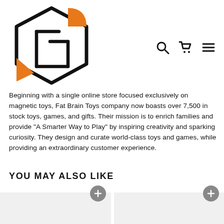[Figure (logo): Fat Brain Toys logo: geometric hexagonal shape in black outline with orange triangle accents forming a stylized box/toy shape]
[Figure (other): Navigation icons: search magnifying glass, shopping cart, and hamburger menu in black outline]
Beginning with a single online store focused exclusively on magnetic toys, Fat Brain Toys company now boasts over 7,500 in stock toys, games, and gifts. Their mission is to enrich families and provide "A Smarter Way to Play" by inspiring creativity and sparking curiosity. They design and curate world-class toys and games, while providing an extraordinary customer experience.
YOU MAY ALSO LIKE
[Figure (photo): Product card placeholder (light gray background) with a gray circular plus/add button in top right area]
[Figure (photo): Product card placeholder (light gray background) with a gray circular plus/add button in top right area]